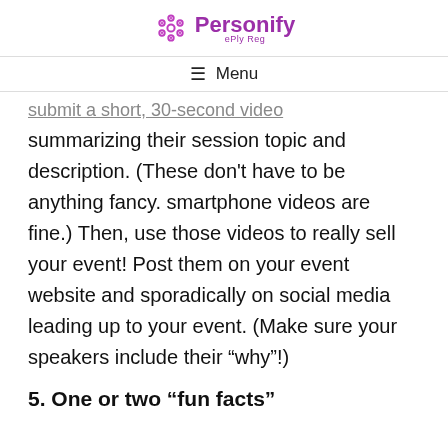Personify ePly Reg
≡ Menu
submit a short, 30-second video summarizing their session topic and description. (These don't have to be anything fancy. smartphone videos are fine.) Then, use those videos to really sell your event! Post them on your event website and sporadically on social media leading up to your event. (Make sure your speakers include their "why"!)
5. One or two “fun facts”